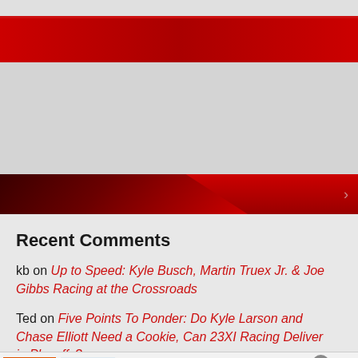[Figure (screenshot): Website header with red gradient band and navigation area with dark red decorative element]
Recent Comments
kb on Up to Speed: Kyle Busch, Martin Truex Jr. & Joe Gibbs Racing at the Crossroads
Ted on Five Points To Ponder: Do Kyle Larson and Chase Elliott Need a Cookie, Can 23XI Racing Deliver in Playoffs?
[Figure (screenshot): Belk.com advertisement banner: Belk® - Official Site. Shop for clothing, handbags, jewelry, beauty, home & more! www.belk.com]